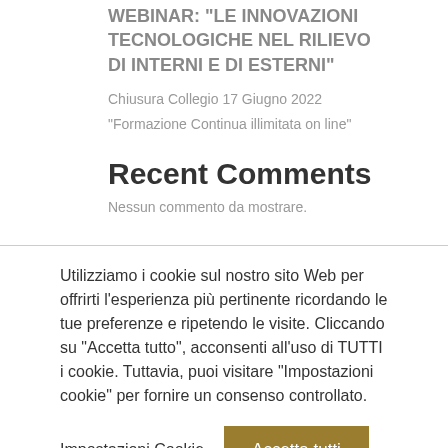WEBINAR: "LE INNOVAZIONI TECNOLOGICHE NEL RILIEVO DI INTERNI E DI ESTERNI"
Chiusura Collegio 17 Giugno 2022
“Formazione Continua illimitata on line”
Recent Comments
Nessun commento da mostrare.
Utilizziamo i cookie sul nostro sito Web per offrirti l’esperienza più pertinente ricordando le tue preferenze e ripetendo le visite. Cliccando su “Accetta tutto”, acconsenti all’uso di TUTTI i cookie. Tuttavia, puoi visitare “Impostazioni cookie” per fornire un consenso controllato.
Impostazioni Cookie | Accetta tutti